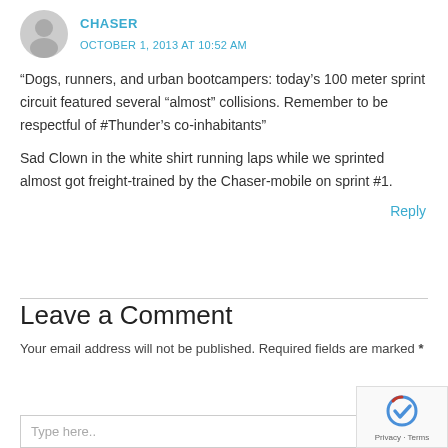CHASER
OCTOBER 1, 2013 AT 10:52 AM
“Dogs, runners, and urban bootcampers: today’s 100 meter sprint circuit featured several “almost” collisions. Remember to be respectful of #Thunder’s co-inhabitants”
Sad Clown in the white shirt running laps while we sprinted almost got freight-trained by the Chaser-mobile on sprint #1.
Reply
Leave a Comment
Your email address will not be published. Required fields are marked *
Type here..